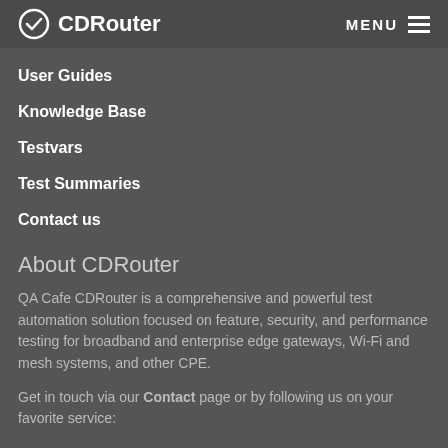CDRouter | MENU
User Guides
Knowledge Base
Testvars
Test Summaries
Contact us
About CDRouter
QA Cafe CDRouter is a comprehensive and powerful test automation solution focused on feature, security, and performance testing for broadband and enterprise edge gateways, Wi-Fi and mesh systems, and other CPE.
Get in touch via our Contact page or by following us on your favorite service: